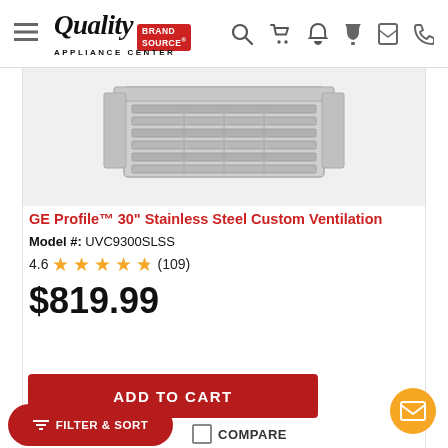Quality Appliance Center Brand Source
[Figure (photo): GE Profile stainless steel custom ventilation hood insert shown from below, with metal grille filters visible]
GE Profile™ 30" Stainless Steel Custom Ventilation
Model #: UVC9300SLSS
4.6 ★★★★★ (109)
$819.99
ADD TO CART
FILTER & SORT
COMPARE